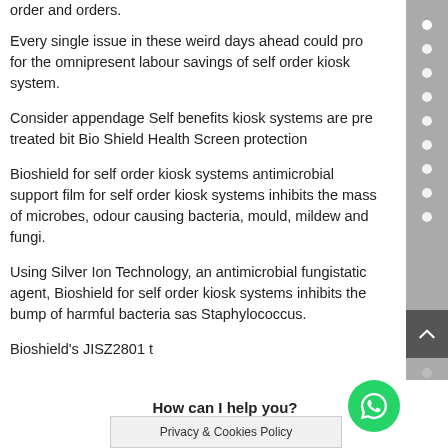order and orders.
Every single issue in these weird days ahead could pro for the omnipresent labour savings of self order kiosk system.
Consider appendage Self benefits kiosk systems are pre treated bit Bio Shield Health Screen protection
Bioshield for self order kiosk systems antimicrobial support film for self order kiosk systems inhibits the mass of microbes, odour causing bacteria, mould, mildew and fungi.
Using Silver Ion Technology, an antimicrobial fungistatic agent, Bioshield for self order kiosk systems inhibits the bump of harmful bacteria such as Staphylococcus.
Bioshield's JISZ2801 t
How can I help you?
Privacy & Cookies Policy